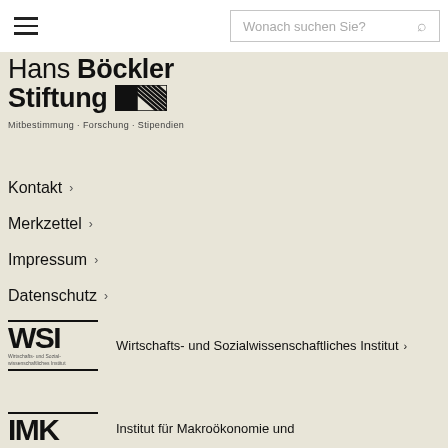Wonach suchen Sie?
[Figure (logo): Hans Böckler Stiftung logo with striped graphic element. Tagline: Mitbestimmung · Forschung · Stipendien]
Kontakt ›
Merkzettel ›
Impressum ›
Datenschutz ›
[Figure (logo): WSI logo - Wirtschafts- und Sozialwissenschaftliches Institut]
Wirtschafts- und Sozialwissenschaftliches Institut ›
[Figure (logo): IMK logo - Institut für Makroökonomie und]
Institut für Makroökonomie und